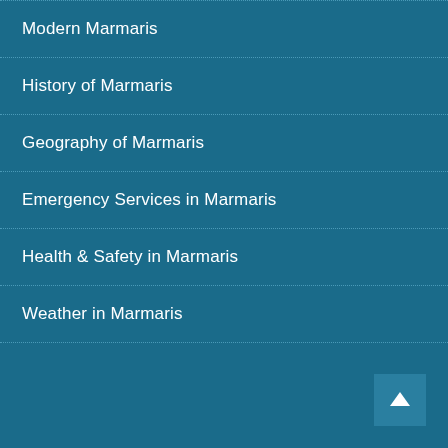Modern Marmaris
History of Marmaris
Geography of Marmaris
Emergency Services in Marmaris
Health & Safety in Marmaris
Weather in Marmaris
[Figure (illustration): Back to top arrow button in lighter blue square at bottom right corner]